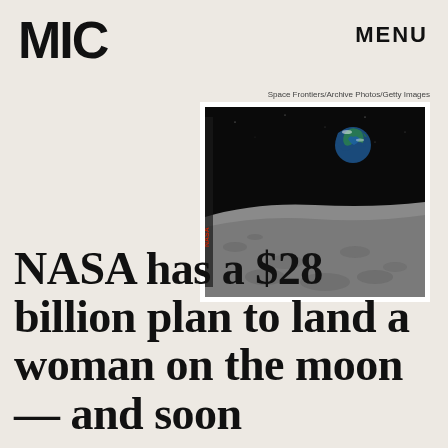MIC
MENU
[Figure (photo): Earthrise photo taken from lunar orbit showing Earth rising above the Moon's surface against black space, with the gray cratered lunar surface in the foreground. NASA archival photograph with red NASA text on the left edge.]
Space Frontiers/Archive Photos/Getty Images
NASA has a $28 billion plan to land a woman on the moon — and soon